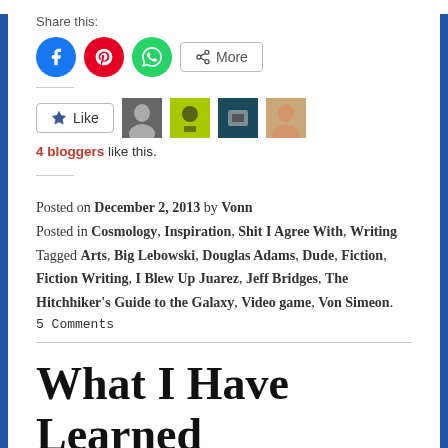Share this:
[Figure (infographic): Social share buttons: Facebook (blue circle), Pinterest (red circle), WhatsApp (green circle), and a More button with share icon]
[Figure (infographic): Like button with star icon, followed by 4 blogger avatar images]
4 bloggers like this.
Posted on December 2, 2013 by Vonn
Posted in Cosmology, Inspiration, Shit I Agree With, Writing
Tagged Arts, Big Lebowski, Douglas Adams, Dude, Fiction, Fiction Writing, I Blew Up Juarez, Jeff Bridges, The Hitchhiker's Guide to the Galaxy, Video game, Von Simeon.
5 Comments
What I Have Learned Through Bleary Eyes